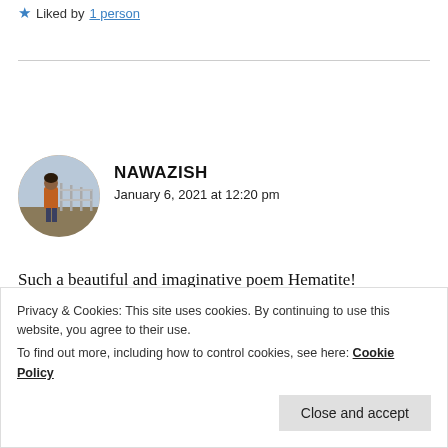★ Liked by 1 person
NAWAZISH
January 6, 2021 at 12:20 pm
[Figure (photo): Circular avatar photo of a person standing near a fence outdoors]
Such a beautiful and imaginative poem Hematite!
Privacy & Cookies: This site uses cookies. By continuing to use this website, you agree to their use.
To find out more, including how to control cookies, see here: Cookie Policy
Close and accept